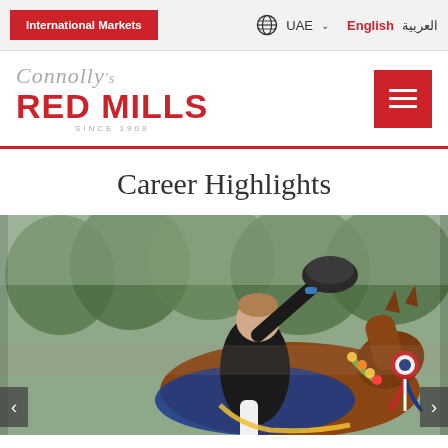International Markets  UAE  English  العربية
[Figure (logo): Connolly's RED MILLS logo – cursive Connolly's above bold red RED MILLS text, SINCE 1908 below]
Career Highlights
[Figure (photo): Equestrian rider in black jacket seated on a chestnut horse decorated with blue competition cloth and floral garland, raising a helmet in celebration, with green trees in background]